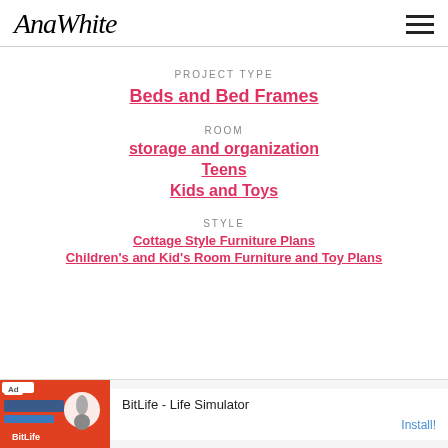AnaWhite
PROJECT TYPE
Beds and Bed Frames
ROOM
storage and organization
Teens
Kids and Toys
STYLE
Cottage Style Furniture Plans
Children's and Kid's Room Furniture and Toy Plans
[Figure (other): Advertisement banner for BitLife - Life Simulator with Install button]